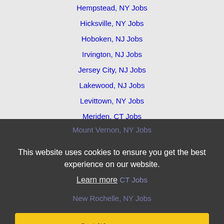Hempstead, NY Jobs
Hicksville, NY Jobs
Hoboken, NJ Jobs
Irvington, NJ Jobs
Jersey City, NJ Jobs
Lakewood, NJ Jobs
Levittown, NY Jobs
Meriden, CT Jobs
Middletown, CT Jobs
Milford, CT Jobs
Mount Vernon, NY Jobs
This website uses cookies to ensure you get the best experience on our website.
Learn more
New Britain, CT Jobs
New Rochelle, NY Jobs
New York, NY Jobs
Newark, NJ Jobs
North Bergen, NJ Jobs